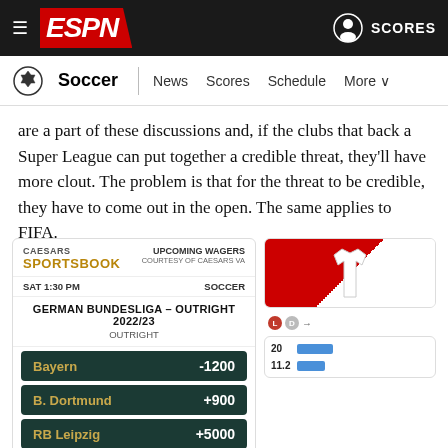ESPN - Soccer | News Scores Schedule More | SCORES
are a part of these discussions and, if the clubs that back a Super League can put together a credible threat, they'll have more clout. The problem is that for the threat to be credible, they have to come out in the open. The same applies to FIFA.
[Figure (other): Caesars Sportsbook widget showing German Bundesliga 2022/23 Outright odds: Bayern -1200, B. Dortmund +900, RB Leipzig +5000, Leverkusen +8000. SAT 1:30 PM, SOCCER label. Upcoming Wagers courtesy of Caesars VA.]